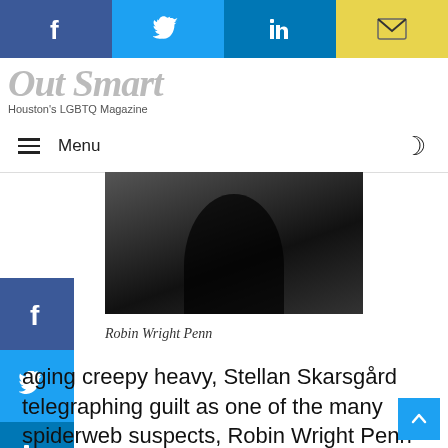[Figure (other): Top social sharing bar with Facebook (blue), Twitter (cyan), LinkedIn (blue), and email (yellow) buttons]
[Figure (logo): Out Smart Houston's LGBTQ Magazine logo]
≡ Menu
[Figure (photo): Dark photo of a person, likely Robin Wright Penn, wearing black]
[Figure (other): Side social sharing buttons: Facebook, Twitter, LinkedIn]
Robin Wright Penn
aging creepy heavy, Stellan Skarsgård telegraphing guilt as one of the many spiderweb suspects, Robin Wright Penn (looking hotter than ever) as Craig's employer/lover, and notorious but brilliant casting choice Rooney Mara, breaking anew